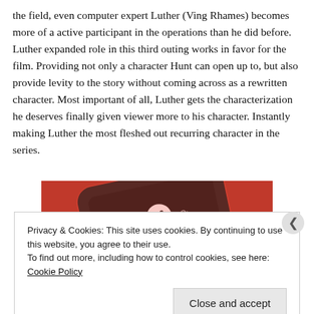the field, even computer expert Luther (Ving Rhames) becomes more of a active participant in the operations than he did before. Luther expanded role in this third outing works in favor for the film. Providing not only a character Hunt can open up to, but also provide levity to the story without coming across as a rewritten character. Most important of all, Luther gets the characterization he deserves finally given viewer more to his character. Instantly making Luther the most fleshed out recurring character in the series.
[Figure (photo): A red smartphone lying on a red background showing a media player interface with pause and other control buttons on a dark screen.]
Privacy & Cookies: This site uses cookies. By continuing to use this website, you agree to their use.
To find out more, including how to control cookies, see here: Cookie Policy
Close and accept